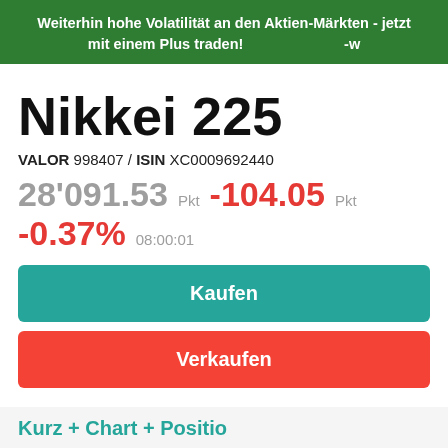Weiterhin hohe Volatilität an den Aktien-Märkten - jetzt mit einem Plus traden! -w
Nikkei 225
VALOR 998407 / ISIN XC0009692440
28'091.53 Pkt  -104.05 Pkt  -0.37%  08:00:01
Kaufen
Verkaufen
Kurz + Chart + Positio